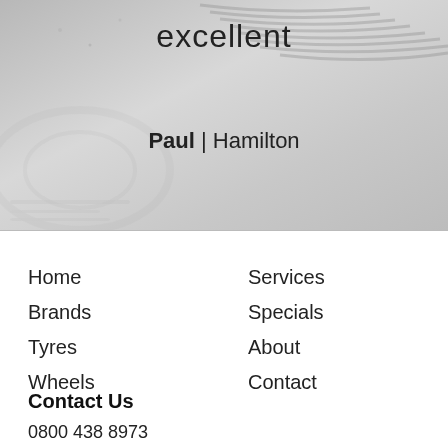[Figure (photo): Hero banner with blurred tyre/wheel image background in greyscale, showing the word 'excellent' and attribution 'Paul | Hamilton']
excellent
Paul | Hamilton
Home
Brands
Tyres
Wheels
Services
Specials
About
Contact
Contact Us
0800 438 8973
07 847 1187
nztyreimports@xtra.co.nz